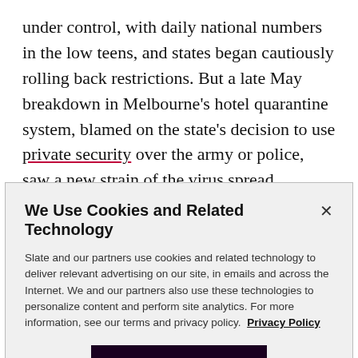under control, with daily national numbers in the low teens, and states began cautiously rolling back restrictions. But a late May breakdown in Melbourne's hotel quarantine system, blamed on the state's decision to use private security over the army or police, saw a new strain of the virus spread unchecked through June. Gathering limits were rolled back from June 20 onward, but cases continued to climb, and it soon became
We Use Cookies and Related Technology
Slate and our partners use cookies and related technology to deliver relevant advertising on our site, in emails and across the Internet. We and our partners also use these technologies to personalize content and perform site analytics. For more information, see our terms and privacy policy. Privacy Policy
OK